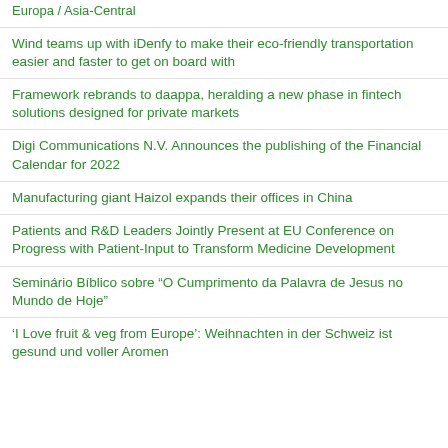Europa / Asia-Central
Wind teams up with iDenfy to make their eco-friendly transportation easier and faster to get on board with
Framework rebrands to daappa, heralding a new phase in fintech solutions designed for private markets
Digi Communications N.V. Announces the publishing of the Financial Calendar for 2022
Manufacturing giant Haizol expands their offices in China
Patients and R&D Leaders Jointly Present at EU Conference on Progress with Patient-Input to Transform Medicine Development
Seminário Bíblico sobre “O Cumprimento da Palavra de Jesus no Mundo de Hoje”
'I Love fruit & veg from Europe': Weihnachten in der Schweiz ist gesund und voller Aromen